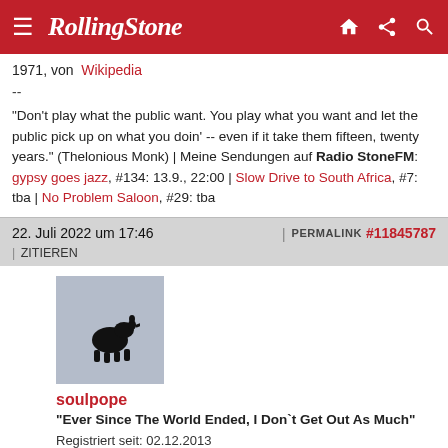Rolling Stone
1971, von Wikipedia
--
"Don't play what the public want. You play what you want and let the public pick up on what you doin' -- even if it take them fifteen, twenty years." (Thelonious Monk) | Meine Sendungen auf Radio StoneFM: gypsy goes jazz, #134: 13.9., 22:00 | Slow Drive to South Africa, #7: tba | No Problem Saloon, #29: tba
22. Juli 2022 um 17:46 | PERMALINK #11845787 | ZITIEREN
[Figure (photo): User avatar for soulpope showing a small black dog silhouette on a gray-blue background]
soulpope
"Ever Since The World Ended, I Don`t Get Out As Much"
Registriert seit: 02.12.2013
Beiträge: 46,734